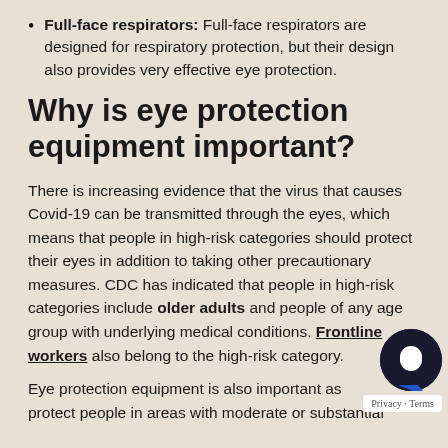Full-face respirators: Full-face respirators are designed for respiratory protection, but their design also provides very effective eye protection.
Why is eye protection equipment important?
There is increasing evidence that the virus that causes Covid-19 can be transmitted through the eyes, which means that people in high-risk categories should protect their eyes in addition to taking other precautionary measures. CDC has indicated that people in high-risk categories include older adults and people of any age group with underlying medical conditions. Frontline workers also belong to the high-risk category.
Eye protection equipment is also important as protect people in areas with moderate or substantial